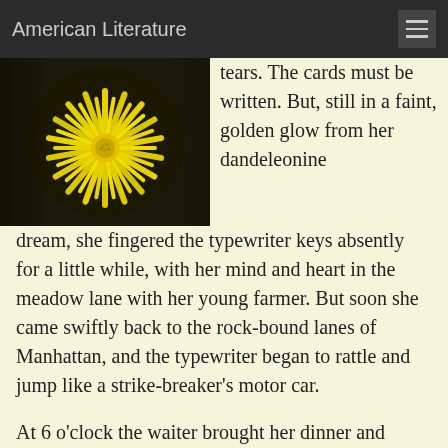American Literature
[Figure (photo): Close-up photograph of a yellow dandelion flower in bloom against a dark background]
tears. The cards must be written. But, still in a faint, golden glow from her dandeleonine dream, she fingered the typewriter keys absently for a little while, with her mind and heart in the meadow lane with her young farmer. But soon she came swiftly back to the rock-bound lanes of Manhattan, and the typewriter began to rattle and jump like a strike-breaker's motor car.
At 6 o'clock the waiter brought her dinner and carried away the typewritten bill of fare. When Sarah